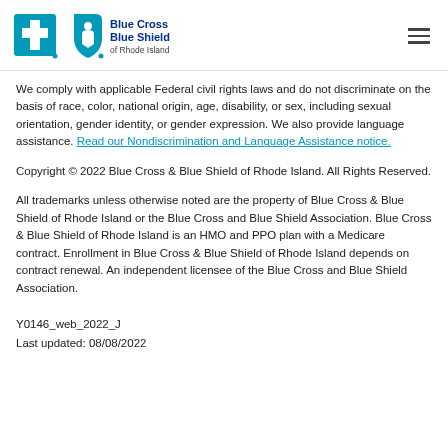[Figure (logo): Blue Cross Blue Shield of Rhode Island logo with two shield icons and text]
We comply with applicable Federal civil rights laws and do not discriminate on the basis of race, color, national origin, age, disability, or sex, including sexual orientation, gender identity, or gender expression. We also provide language assistance. Read our Nondiscrimination and Language Assistance notice.
Copyright © 2022 Blue Cross & Blue Shield of Rhode Island. All Rights Reserved.
All trademarks unless otherwise noted are the property of Blue Cross & Blue Shield of Rhode Island or the Blue Cross and Blue Shield Association. Blue Cross & Blue Shield of Rhode Island is an HMO and PPO plan with a Medicare contract. Enrollment in Blue Cross & Blue Shield of Rhode Island depends on contract renewal. An independent licensee of the Blue Cross and Blue Shield Association.
Y0146_web_2022_J
Last updated: 08/08/2022